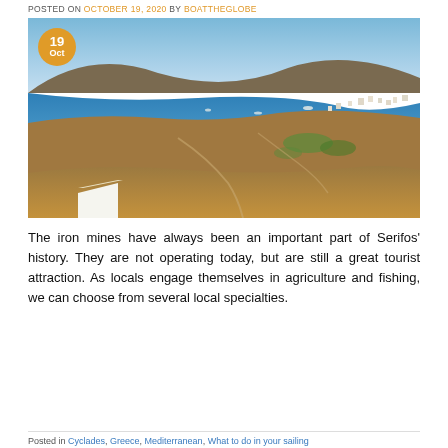POSTED ON OCTOBER 19, 2020 BY BOATTHEGLOBE
[Figure (photo): Aerial photograph of Serifos island, Greece, showing a bay with blue water, hillside terrain, scattered white buildings, and boats in the harbor. An orange circular badge with '19 Oct' is overlaid in the top-left corner.]
The iron mines have always been an important part of Serifos' history. They are not operating today, but are still a great tourist attraction. As locals engage themselves in agriculture and fishing, we can choose from several local specialties.
CONTINUE READING →
Posted in Cyclades, Greece, Mediterranean, What to do in your sailing